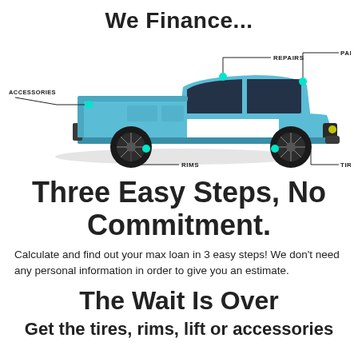We Finance...
[Figure (illustration): Side view of a light blue pickup truck (RAM-style) on white background with labeled callout lines pointing to: REPAIRS (top center), PARTS (top right), ACCESSORIES (left side), RIMS (front wheel, cyan dot), TIRES (rear wheel, cyan dot)]
Three Easy Steps, No Commitment.
Calculate and find out your max loan in 3 easy steps! We don't need any personal information in order to give you an estimate.
The Wait Is Over
Get the tires, rims, lift or accessories